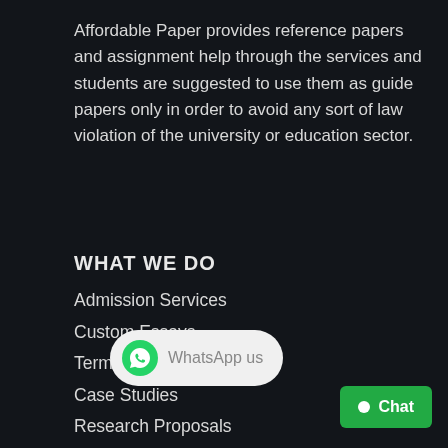Affordable Paper provides reference papers and assignment help through the services and students are suggested to use them as guide papers only in order to avoid any sort of law violation of the university or education sector.
WHAT WE DO
Admission Services
Custom Essays
Term Papers
Case Studies
Research Proposals
Bibliographies
[Figure (other): WhatsApp us button — rounded rectangle with WhatsApp green icon and grey text 'WhatsApp us']
[Figure (other): Chat button — green rounded rectangle with white dot and 'Chat' text]